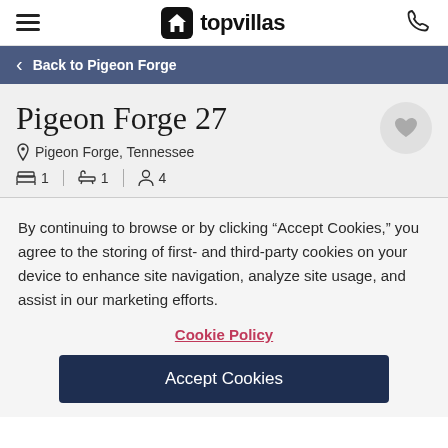topvillas
Back to Pigeon Forge
Pigeon Forge 27
Pigeon Forge, Tennessee
1 bedroom · 1 bathroom · 4 guests
By continuing to browse or by clicking “Accept Cookies,” you agree to the storing of first- and third-party cookies on your device to enhance site navigation, analyze site usage, and assist in our marketing efforts.
Cookie Policy
Accept Cookies